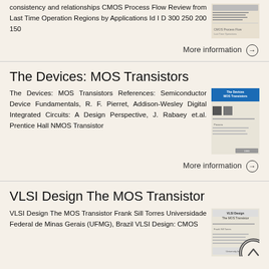consistency and relationships CMOS Process Flow Review from Last Time Operation Regions by Applications Id I D 300 250 200 150
More information →
The Devices: MOS Transistors
The Devices: MOS Transistors References: Semiconductor Device Fundamentals, R. F. Pierret, Addison-Wesley Digital Integrated Circuits: A Design Perspective, J. Rabaey et.al. Prentice Hall NMOS Transistor
More information →
VLSI Design The MOS Transistor
VLSI Design The MOS Transistor Frank Sill Torres Universidade Federal de Minas Gerais (UFMG), Brazil VLSI Design: CMOS